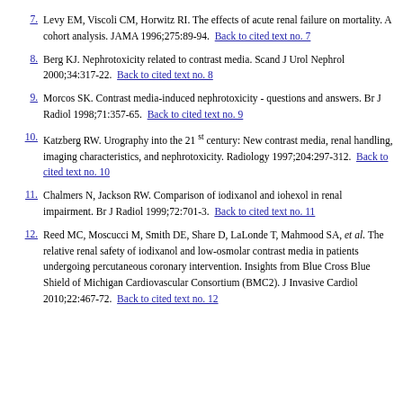7. Levy EM, Viscoli CM, Horwitz RI. The effects of acute renal failure on mortality. A cohort analysis. JAMA 1996;275:89-94. Back to cited text no. 7
8. Berg KJ. Nephrotoxicity related to contrast media. Scand J Urol Nephrol 2000;34:317-22. Back to cited text no. 8
9. Morcos SK. Contrast media-induced nephrotoxicity - questions and answers. Br J Radiol 1998;71:357-65. Back to cited text no. 9
10. Katzberg RW. Urography into the 21st century: New contrast media, renal handling, imaging characteristics, and nephrotoxicity. Radiology 1997;204:297-312. Back to cited text no. 10
11. Chalmers N, Jackson RW. Comparison of iodixanol and iohexol in renal impairment. Br J Radiol 1999;72:701-3. Back to cited text no. 11
12. Reed MC, Moscucci M, Smith DE, Share D, LaLonde T, Mahmood SA, et al. The relative renal safety of iodixanol and low-osmolar contrast media in patients undergoing percutaneous coronary intervention. Insights from Blue Cross Blue Shield of Michigan Cardiovascular Consortium (BMC2). J Invasive Cardiol 2010;22:467-72. Back to cited text no. 12